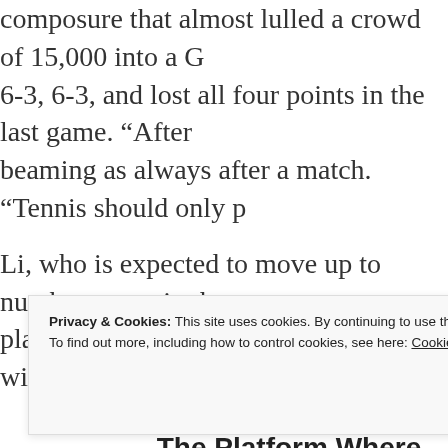composure that almost lulled a crowd of 15,000 into a G 6-3, 6-3, and lost all four points in the last game. “After beaming as always after a match. “Tennis should only p
Li, who is expected to move up to number seven in the n played her game, trying to attack and win the champions
[Figure (infographic): Advertisement banner: 'The Platform Where WordPress Works Best' with blue line at top]
“I think I played great tennis. She played better than me m
Privacy & Cookies: This site uses cookies. By continuing to use this website, you agree to their use.
To find out more, including how to control cookies, see here: Cookie Policy
Close and accept